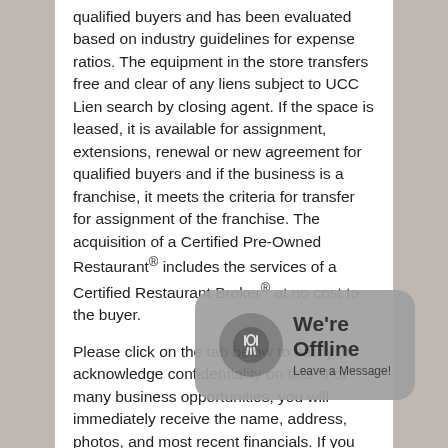qualified buyers and has been evaluated based on industry guidelines for expense ratios. The equipment in the store transfers free and clear of any liens subject to UCC Lien search by closing agent. If the space is leased, it is available for assignment, extensions, renewal or new agreement for qualified buyers and if the business is a franchise, it meets the criteria for transfer for assignment of the franchise. The acquisition of a Certified Pre-Owned Restaurant® includes the services of a Certified Restaurant Broker® at no cost to the buyer.
Please click on the tab below to easily acknowledge confidentiality on this . For many business opportunities, you will immediately receive the name, address, photos, and most recent financials. If you have any questions, please contact Certified Restaurant Broker Robin Gagnon at (404) 800-6700
[Figure (other): We're Offline - Leave a Message! chat widget overlay with fork and knife icon]
This is an ex[clusive listing of We Sell Restau]rants who is the rightful owner o[f the content ass]ociated with this website. This may not be duplicated with[out the express] permission of We Sell Restaurants. We Sell Restaurants is a federally registered trademark.